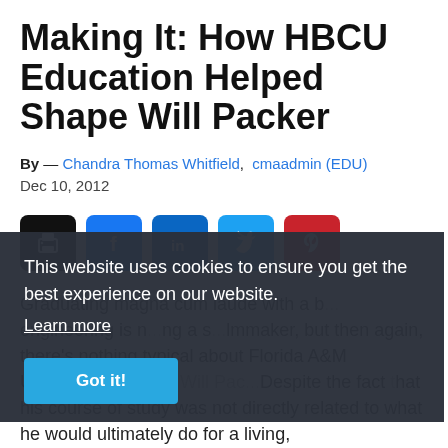Making It: How HBCU Education Helped Shape Will Packer
By — Chandra Thomas Whitfield, cmaadmin (EDU)
Dec 10, 2012
[Figure (infographic): Row of five social sharing buttons: print (black), Facebook (blue), LinkedIn (dark blue), Twitter (light blue), Pinterest (red)]
Graduating magna cum laude with a b... engineering is n... ng a s... lmmaker, but then again, there's nothing typical about Florida A&M University graduate Will Pac... Despite the fact that his course of study was not directly related to what he would ultimately do for a living,
This website uses cookies to ensure you get the best experience on our website.
Learn more
Got it!